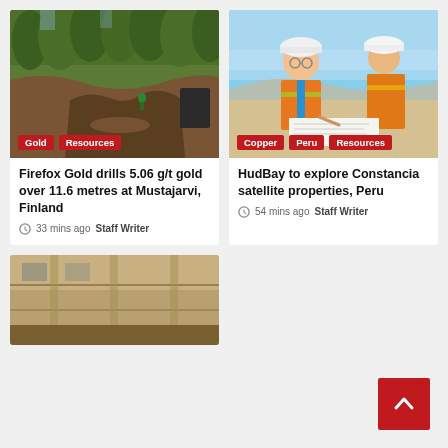[Figure (photo): Aerial view of a muddy mining trench / excavation site in a forested area in Finland]
Gold | Resources
Firefox Gold drills 5.06 g/t gold over 11.6 metres at Mustajarvi, Finland
33 mins ago  Staff Writer
[Figure (photo): Two mining engineers in safety vests and hard hats reviewing documents outdoors in Peru]
Copper | Peru | Resources
HudBay to explore Constancia satellite properties, Peru
54 mins ago  Staff Writer
[Figure (photo): Partial view of a stone or concrete building structure, bottom of page]